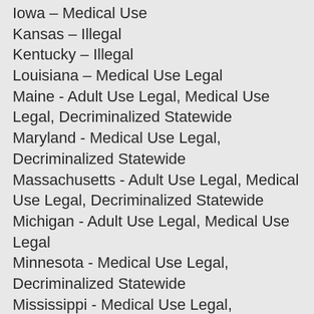Iowa – Medical Use
Kansas – Illegal
Kentucky – Illegal
Louisiana – Medical Use Legal
Maine - Adult Use Legal, Medical Use Legal, Decriminalized Statewide
Maryland - Medical Use Legal, Decriminalized Statewide
Massachusetts - Adult Use Legal, Medical Use Legal, Decriminalized Statewide
Michigan - Adult Use Legal, Medical Use Legal
Minnesota - Medical Use Legal, Decriminalized Statewide
Mississippi - Medical Use Legal, Decriminalized Statewide
Missouri - Medical Use Legal, Decriminalized Statewide
Montana- Adult Use Legal, Medical Use Legal
Nebraska – Illegal, but Decriminalized Statewide
Nevada - Adult Use Legal, Medical Use Legal, Decriminalized Statewide